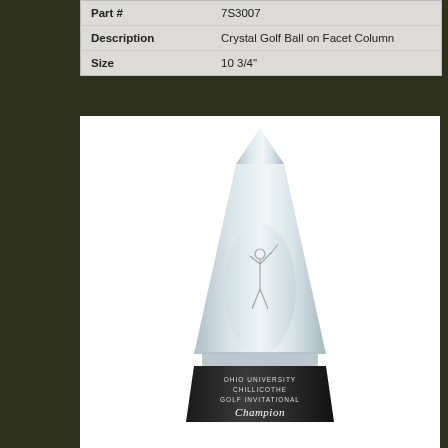| Part # | 7S3007 |
| Description | Crystal Golf Ball on Facet Column |
| Size | 10 3/4" |
[Figure (photo): Crystal obelisk/column trophy with a golf figure etched inside, sitting on a black base engraved with 'Ohio University Chillicothe Golf Invitational Champion']